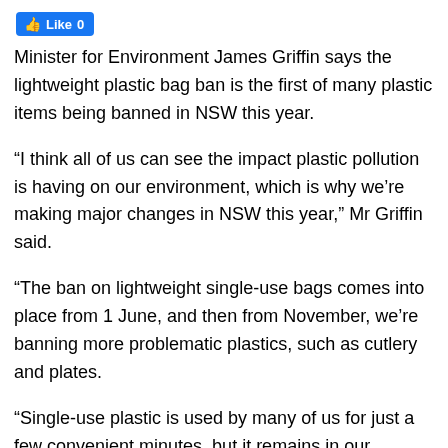Like 0
Minister for Environment James Griffin says the lightweight plastic bag ban is the first of many plastic items being banned in NSW this year.
“I think all of us can see the impact plastic pollution is having on our environment, which is why we’re making major changes in NSW this year,” Mr Griffin said.
“The ban on lightweight single-use bags comes into place from 1 June, and then from November, we’re banning more problematic plastics, such as cutlery and plates.
“Single-use plastic is used by many of us for just a few convenient minutes, but it remains in our environment for many years, eventually breaking into microplastics.
“Single-use plastic items and packaging make up 60 per cent